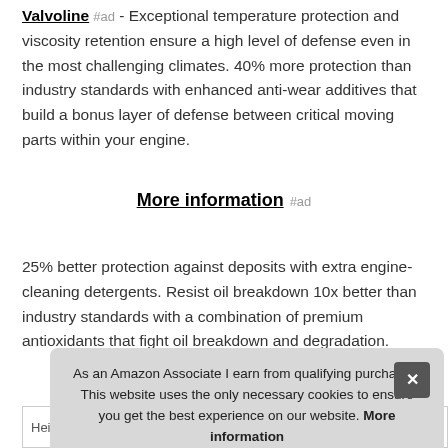Valvoline #ad - Exceptional temperature protection and viscosity retention ensure a high level of defense even in the most challenging climates. 40% more protection than industry standards with enhanced anti-wear additives that build a bonus layer of defense between critical moving parts within your engine.
More information #ad
25% better protection against deposits with extra engine-cleaning detergents. Resist oil breakdown 10x better than industry standards with a combination of premium antioxidants that fight oil breakdown and degradation.
As an Amazon Associate I earn from qualifying purchases. This website uses the only necessary cookies to ensure you get the best experience on our website. More information
| Height | 12.66 Inches |